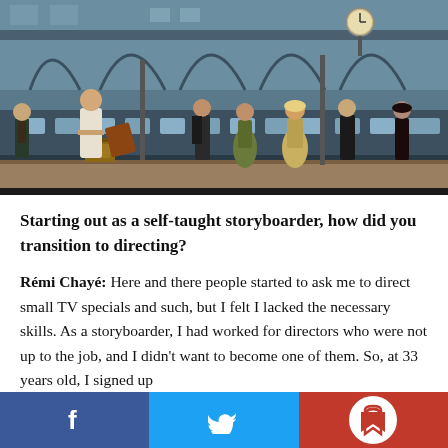[Figure (illustration): Animated illustration of a busy train station scene with stylized characters including passengers, a porter carrying luggage, and a blonde woman in period dress. A large clock is visible at the top right. The scene has a retro, flat animation style with muted colors.]
Starting out as a self-taught storyboarder, how did you transition to directing?
Rémi Chayé: Here and there people started to ask me to direct small TV specials and such, but I felt I lacked the necessary skills. As a storyboarder, I had worked for directors who were not up to the job, and I didn't want to become one of them. So, at 33 years old, I signed up